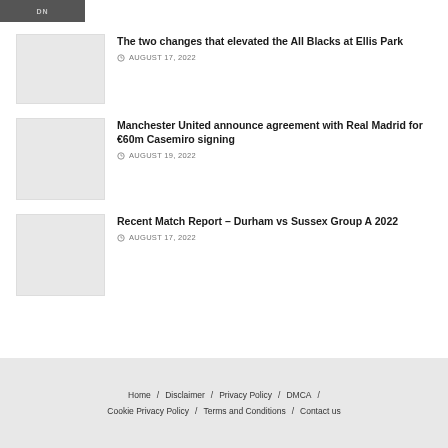[Figure (photo): Partial image at top left, appears to be a logo or banner image with letters 'DN' visible on dark background]
The two changes that elevated the All Blacks at Ellis Park
AUGUST 17, 2022
Manchester United announce agreement with Real Madrid for €60m Casemiro signing
AUGUST 19, 2022
Recent Match Report – Durham vs Sussex Group A 2022
AUGUST 17, 2022
Home / Disclaimer / Privacy Policy / DMCA / Cookie Privacy Policy / Terms and Conditions / Contact us